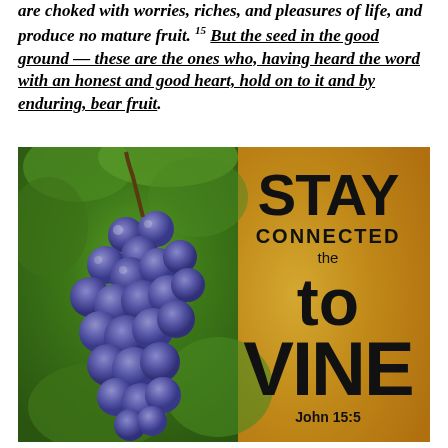are choked with worries, riches, and pleasures of life, and produce no mature fruit. 15 But the seed in the good ground — these are the ones who, having heard the word with an honest and good heart, hold on to it and by enduring, bear fruit.
[Figure (photo): Photo of a grape cluster hanging on a vine with green leaves on the left half, and on the right half an orange/golden blurred background with black bold text reading: STAY CONNECTED the to VINE John 15:5]